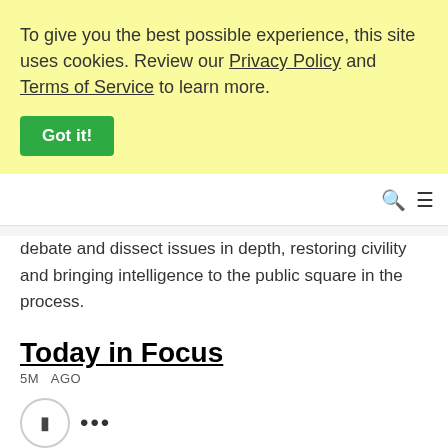To give you the best possible experience, this site uses cookies. Review our Privacy Policy and Terms of Service to learn more.
Got it!
debate and dissect issues in depth, restoring civility and bringing intelligence to the public square in the process.
Today in Focus
5M  AGO
Hosted by Nosheen Iqbal and Michael Safi, Today in Focus brings you closer to Guardian journalism. Guardian journalists talk with...